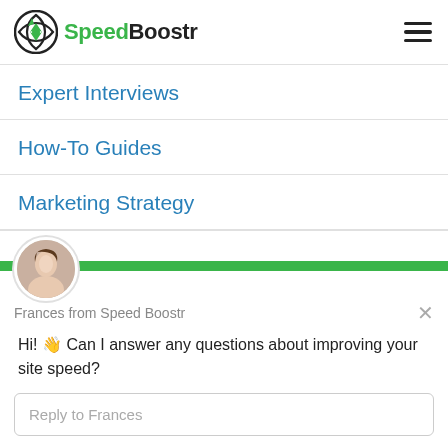SpeedBoostr
Expert Interviews
How-To Guides
Marketing Strategy
Frances from Speed Boostr
Hi! 👋 Can I answer any questions about improving your site speed?
Reply to Frances